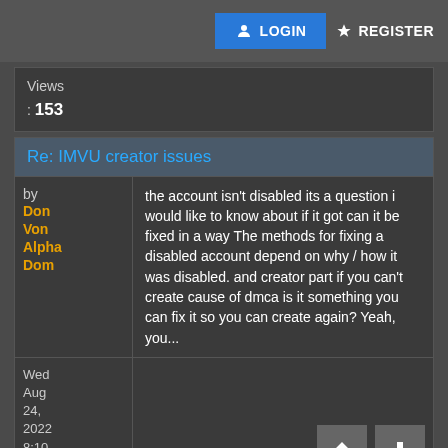LOGIN  REGISTER
Views : 153
Re: IMVU creator issues
by Don Von Alpha Dom
the account isn't disabled its a question i would like to know about if it got can it be fixed in a way The methods for fixing a disabled account depend on why / how it was disabled. and creator part if you can't create cause of dmca is it something you can fix it so you can create again? Yeah, you...
Wed Aug 24, 2022 8:10 pm
Forum: